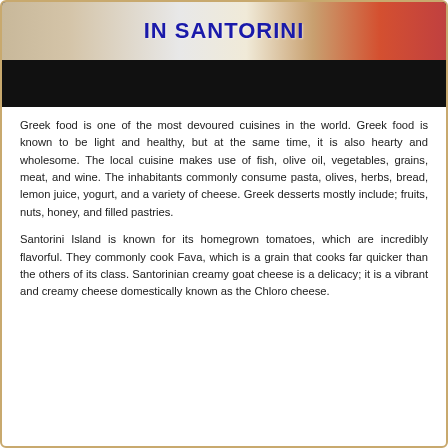[Figure (photo): Top banner image showing food items with text 'IN SANTORINI' in bold blue letters, partially visible. Below the photo is a black bar.]
Greek food is one of the most devoured cuisines in the world. Greek food is known to be light and healthy, but at the same time, it is also hearty and wholesome. The local cuisine makes use of fish, olive oil, vegetables, grains, meat, and wine. The inhabitants commonly consume pasta, olives, herbs, bread, lemon juice, yogurt, and a variety of cheese. Greek desserts mostly include; fruits, nuts, honey, and filled pastries.
Santorini Island is known for its homegrown tomatoes, which are incredibly flavorful. They commonly cook Fava, which is a grain that cooks far quicker than the others of its class. Santorinian creamy goat cheese is a delicacy; it is a vibrant and creamy cheese domestically known as the Chloro cheese.